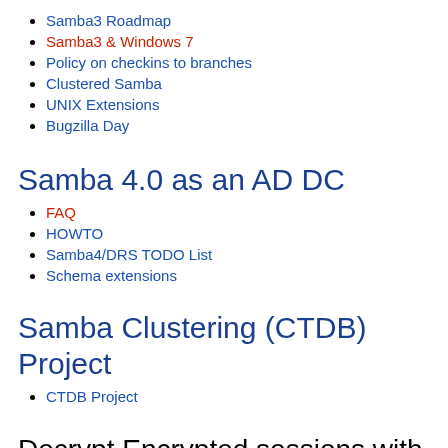Samba3 Roadmap
Samba3 & Windows 7
Policy on checkins to branches
Clustered Samba
UNIX Extensions
Bugzilla Day
Samba 4.0 as an AD DC
FAQ
HOWTO
Samba4/DRS TODO List
Schema extensions
Samba Clustering (CTDB) Project
CTDB Project
Decrypt Encrypted sessions with wireshark